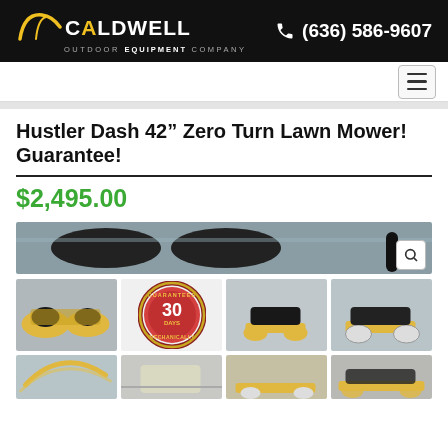[Figure (logo): Caldwell Outdoor Equipment Company logo with yellow arc swoosh on black background]
(636) 586-9607
[Figure (other): Hamburger menu icon button]
Hustler Dash 42” Zero Turn Lawn Mower! Guarantee!
$2,495.00
[Figure (photo): Main product image strip showing zero turn lawn mower seats and handles]
[Figure (photo): Thumbnail: multiple yellow zero turn lawn mowers in parking lot]
[Figure (other): Guaranteed 30 Days Mechanically badge/seal in red and gold]
[Figure (photo): Thumbnail: yellow zero turn lawn mower front view on concrete]
[Figure (photo): Thumbnail: yellow zero turn lawn mower side view]
[Figure (photo): Thumbnail: partial mower handle/frame close-up]
[Figure (photo): Thumbnail: mower close-up component]
[Figure (photo): Thumbnail: yellow zero turn mower]
[Figure (photo): Thumbnail: yellow mowers in group]